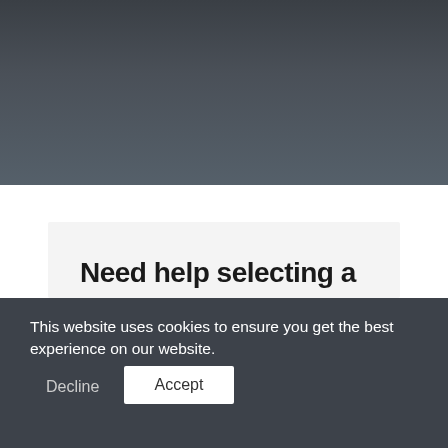[Figure (screenshot): Dark gradient background area at the top of a webpage screenshot]
Need help selecting a
This website uses cookies to ensure you get the best experience on our website.
Decline
Accept